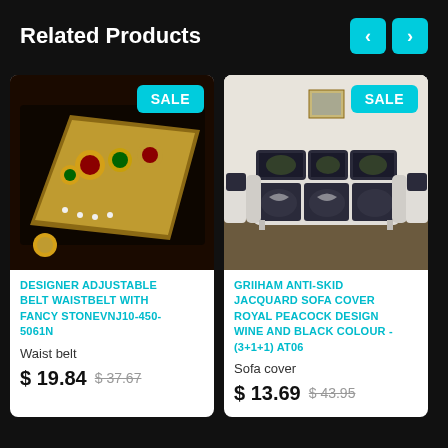Related Products
[Figure (photo): Gold designer adjustable waist belt with fancy stones, rubies and emeralds on dark background]
DESIGNER ADJUSTABLE BELT WAISTBELT WITH FANCY STONEVNJ10-450-5061N
Waist belt
$ 19.84  $ 37.67
[Figure (photo): Griiham anti-skid jacquard sofa cover with royal peacock design in wine and black colour, shown on a 3+1+1 sofa set]
GRIIHAM ANTI-SKID JACQUARD SOFA COVER ROYAL PEACOCK DESIGN WINE AND BLACK COLOUR - (3+1+1) AT06
Sofa cover
$ 13.69  $ 43.95